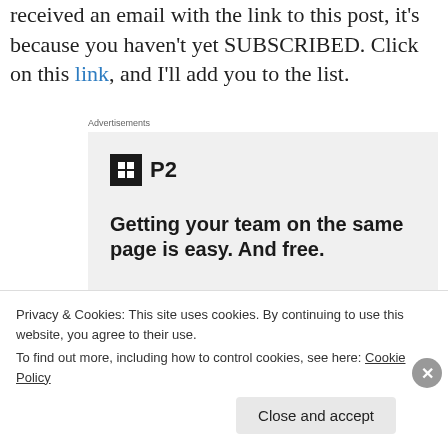received an email with the link to this post, it's because you haven't yet SUBSCRIBED. Click on this link, and I'll add you to the list.
[Figure (infographic): Advertisement banner for P2 product. Shows P2 logo (dark square with grid icon and 'P2' text), headline 'Getting your team on the same page is easy. And free.', and circular avatars of people at the bottom.]
Privacy & Cookies: This site uses cookies. By continuing to use this website, you agree to their use.
To find out more, including how to control cookies, see here: Cookie Policy